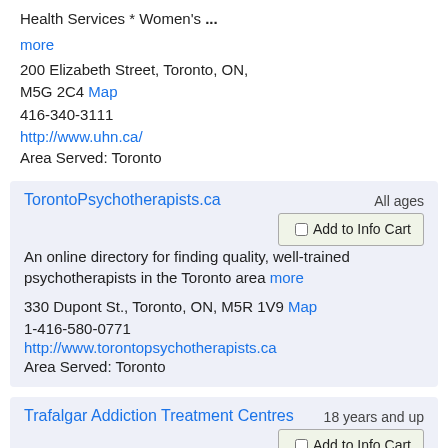Health Services * Women's ...
more
200 Elizabeth Street, Toronto, ON, M5G 2C4 Map
416-340-3111
http://www.uhn.ca/
Area Served: Toronto
TorontoPsychotherapists.ca
All ages
Add to Info Cart
An online directory for finding quality, well-trained psychotherapists in the Toronto area more
330 Dupont St., Toronto, ON, M5R 1V9 Map
1-416-580-0771
http://www.torontopsychotherapists.ca
Area Served: Toronto
Trafalgar Addiction Treatment Centres
18 years and up
Add to Info Cart
Trafalgar Addiction Treatment